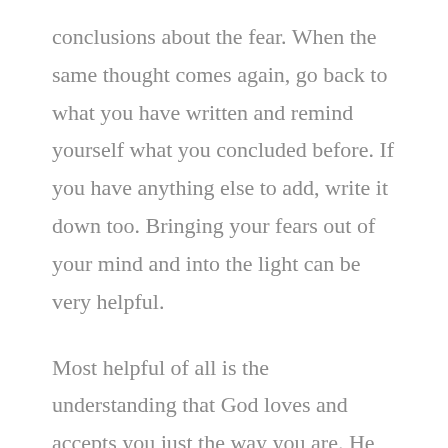conclusions about the fear. When the same thought comes again, go back to what you have written and remind yourself what you concluded before. If you have anything else to add, write it down too. Bringing your fears out of your mind and into the light can be very helpful.
Most helpful of all is the understanding that God loves and accepts you just the way you are. He doesn't judge or condemn you for your anxious thoughts, but He does want you to reach out to Him as He reaches out to you. He wants to give you the strength to examine your irrational fears and to let Him help you change the way you think. God's love for you has the power to go to war against